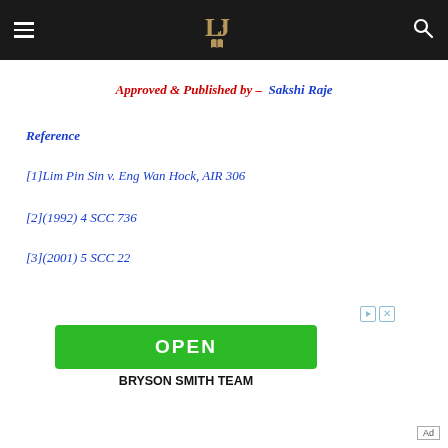Law journal header with logo and navigation
Approved & Published by – Sakshi Raje
Reference
[1]Lim Pin Sin v. Eng Wan Hock, AIR 306
[2](1992) 4 SCC 736
[3](2001) 5 SCC 22
[Figure (infographic): Advertisement banner with green OPEN button and text BRYSON SMITH TEAM]
Ad